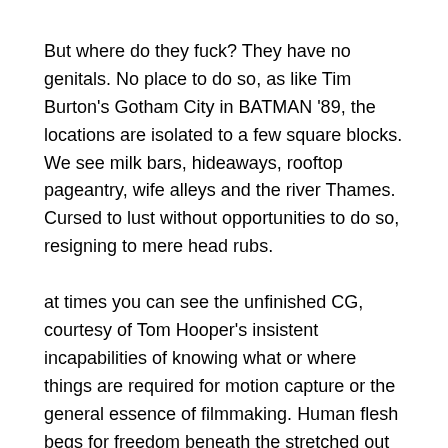But where do they fuck? They have no genitals. No place to do so, as like Tim Burton's Gotham City in BATMAN '89, the locations are isolated to a few square blocks. We see milk bars, hideaways, rooftop pageantry, wife alleys and the river Thames. Cursed to lust without opportunities to do so, resigning to mere head rubs.
at times you can see the unfinished CG, courtesy of Tom Hooper's insistent incapabilities of knowing what or where things are required for motion capture or the general essence of filmmaking. Human flesh begs for freedom beneath the stretched out cat fur polish. The closeup of faces and hands beg for mercy. The cats meow, “No.”
Dame Judi Dench stares directly into our souls, insisting she is not a dog, but a cat. My immediate broken laughter hits like a thunder clap. I am unsure if this is a response to